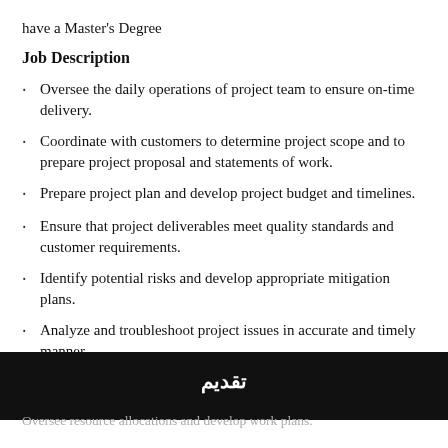have a Master's Degree
Job Description
Oversee the daily operations of project team to ensure on-time delivery.
Coordinate with customers to determine project scope and to prepare project proposal and statements of work.
Prepare project plan and develop project budget and timelines.
Ensure that project deliverables meet quality standards and customer requirements.
Identify potential risks and develop appropriate mitigation plans.
Analyze and troubleshoot project issues in accurate and timely manner.
تقديم
Oversee resource allocations and develop work plans.